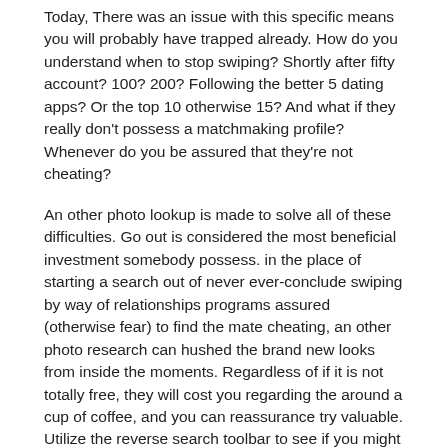Today, There was an issue with this specific means you will probably have trapped already. How do you understand when to stop swiping? Shortly after fifty account? 100? 200? Following the better 5 dating apps? Or the top 10 otherwise 15? And what if they really don't possess a matchmaking profile? Whenever do you be assured that they're not cheating?
An other photo lookup is made to solve all of these difficulties. Go out is considered the most beneficial investment somebody possess. in the place of starting a search out of never ever-conclude swiping by way of relationships programs assured (otherwise fear) to find the mate cheating, an other photo research can hushed the brand new looks from inside the moments. Regardless of if it is not totally free, they will cost you regarding the around a cup of coffee, and you can reassurance try valuable. Utilize the reverse search toolbar to see if you might be companion is found on internet dating sites.